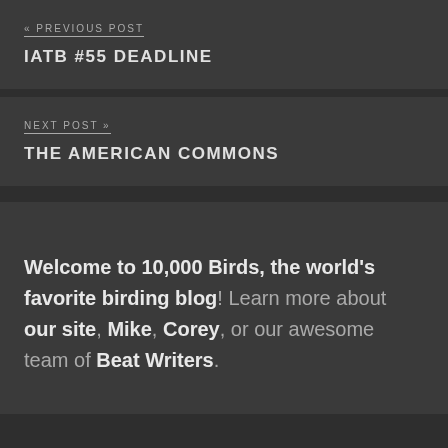« PREVIOUS POST
IATB #55 DEADLINE
NEXT POST »
THE AMERICAN COMMONS
Welcome to 10,000 Birds, the world's favorite birding blog! Learn more about our site, Mike, Corey, or our awesome team of Beat Writers.